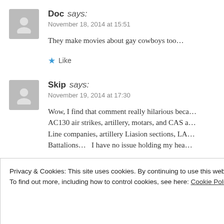Doc says: November 18, 2014 at 15:51
They make movies about gay cowboys too…
★ Like
Skip says: November 19, 2014 at 17:30
Wow, I find that comment really hilarious beca… AC130 air strikes, artillery, motars, and CAS a… Line companies, artillery Liasion sections, LA… Battalions…  I have no issue holding my hea…
Privacy & Cookies: This site uses cookies. By continuing to use this website, you agree to their use.
To find out more, including how to control cookies, see here: Cookie Policy
Close and accept